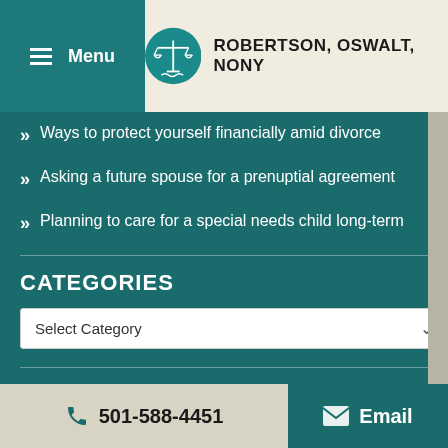Menu | ROBERTSON, OSWALT, NONY
Ways to protect yourself financially amid divorce
Asking a future spouse for a prenuptial agreement
Planning to care for a special needs child long-term
CATEGORIES
Select Category
501-588-4451  Email